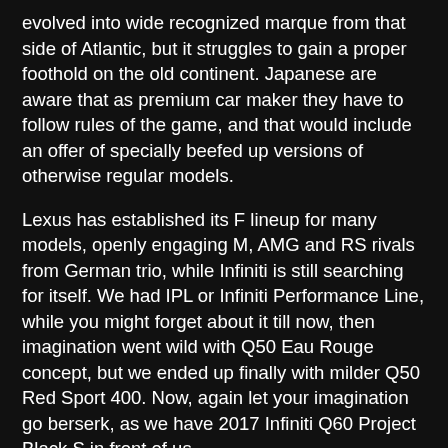evolved into wide recognized marque from that side of Atlantic, but it struggles to gain a proper foothold on the old continent. Japanese are aware that as premium car maker they have to follow rules of the game, and that would include an offer of specially beefed up versions of otherwise regular models.
Lexus has established its F lineup for many models, openly engaging M, AMG and RS rivals from German trio, while Infiniti is still searching for itself. We had IPL or Infiniti Performance Line, while you might forget about it till now, then imagination went wild with Q50 Eau Rouge concept, but we ended up finally with milder Q50 Red Sport 400. Now, again let your imagination go berserk, as we have 2017 Infiniti Q60 Project Black S in front of us.
STYLING
In this case, Infiniti gave special attention to the beautiful